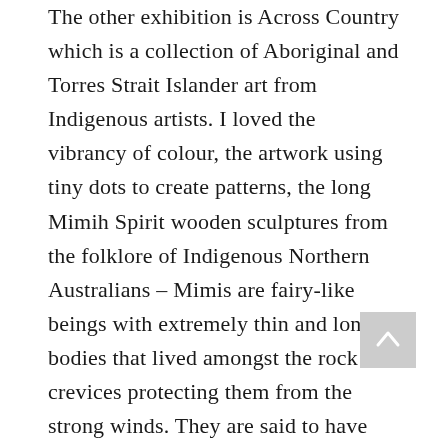The other exhibition is Across Country which is a collection of Aboriginal and Torres Strait Islander art from Indigenous artists. I loved the vibrancy of colour, the artwork using tiny dots to create patterns, the long Mimih Spirit wooden sculptures from the folklore of Indigenous Northern Australians – Mimis are fairy-like beings with extremely thin and long bodies that lived amongst the rock crevices protecting them from the strong winds. They are said to have taught the Aborigines how to hunt and cook kangaroo and how to paint. Despite the Gallery being small, it was thoroughly enjoyable and not overwhelming as other larger places can be. As we were leaving, we could